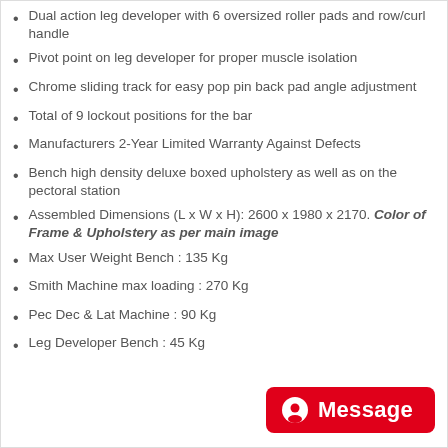Dual action leg developer with 6 oversized roller pads and row/curl handle
Pivot point on leg developer for proper muscle isolation
Chrome sliding track for easy pop pin back pad angle adjustment
Total of 9 lockout positions for the bar
Manufacturers 2-Year Limited Warranty Against Defects
Bench high density deluxe boxed upholstery as well as on the pectoral station
Assembled Dimensions (L x W x H): 2600 x 1980 x 2170. Color of Frame & Upholstery as per main image
Max User Weight Bench : 135 Kg
Smith Machine max loading : 270 Kg
Pec Dec & Lat Machine : 90 Kg
Leg Developer Bench : 45 Kg